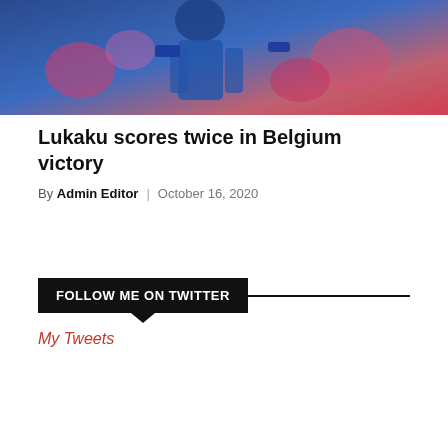[Figure (photo): Sports photo showing athlete in blue jersey with pink/red background crowd]
Lukaku scores twice in Belgium victory
By Admin Editor | October 16, 2020
FOLLOW ME ON TWITTER
My Tweets